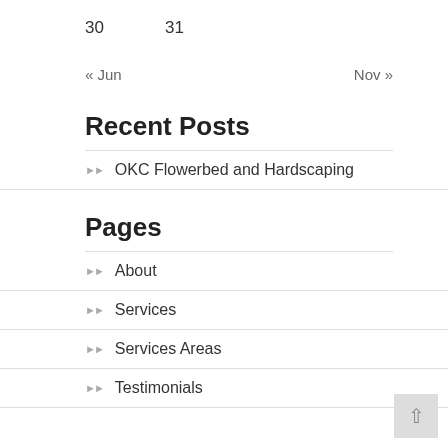30    31
« Jun    Nov »
Recent Posts
OKC Flowerbed and Hardscaping
Pages
About
Services
Services Areas
Testimonials